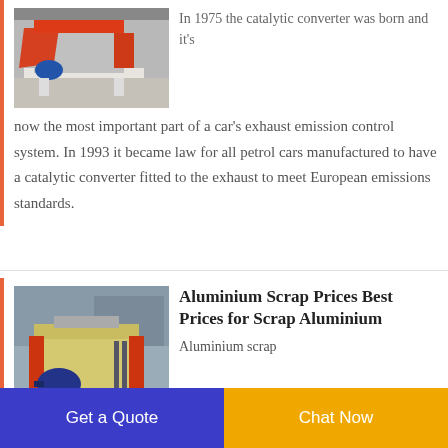[Figure (photo): Industrial shredder/crusher machine with red and white frame on a concrete floor in a warehouse]
In 1975 the catalytic converter was born and it's now the most important part of a car's exhaust emission control system. In 1993 it became law for all petrol cars manufactured to have a catalytic converter fitted to the exhaust to meet European emissions standards.
[Figure (photo): Industrial metal shredder machine with red frame and blue motor, photographed in a warehouse]
Aluminium Scrap Prices Best Prices for Scrap Aluminium
Aluminium scrap
Get a Quote
Chat Now